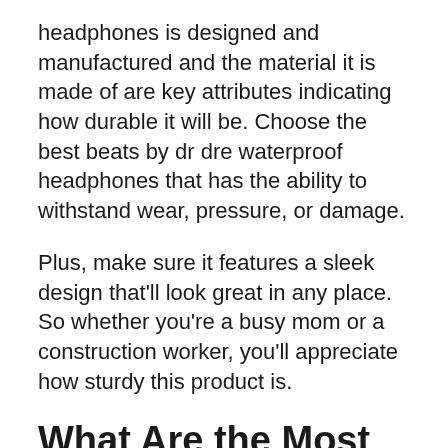headphones is designed and manufactured and the material it is made of are key attributes indicating how durable it will be. Choose the best beats by dr dre waterproof headphones that has the ability to withstand wear, pressure, or damage.
Plus, make sure it features a sleek design that’ll look great in any place. So whether you’re a busy mom or a construction worker, you’ll appreciate how sturdy this product is.
What Are the Most Popular best beats by dr dre waterproof headphones Models on the Market Today?